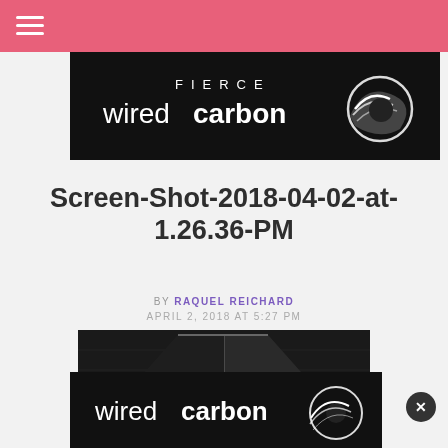Fierce Wired Carbon - navigation header with hamburger menu
[Figure (logo): Fierce Wired Carbon logo banner on black background with swoosh graphic]
Screen-Shot-2018-04-02-at-1.26.36-PM
BY RAQUEL REICHARD APRIL 2, 2018 AT 5:27 PM
[Figure (photo): Dark glossy geometric black object, appears to be a tech product render]
[Figure (logo): Wired Carbon logo banner on black background at bottom of page]
x close button